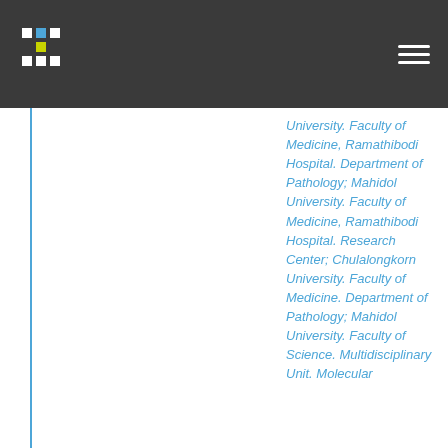University. Faculty of Medicine, Ramathibodi Hospital. Department of Pathology; Mahidol University. Faculty of Medicine, Ramathibodi Hospital. Research Center; Chulalongkorn University. Faculty of Medicine. Department of Pathology; Mahidol University. Faculty of Science. Multidisciplinary Unit. Molecular